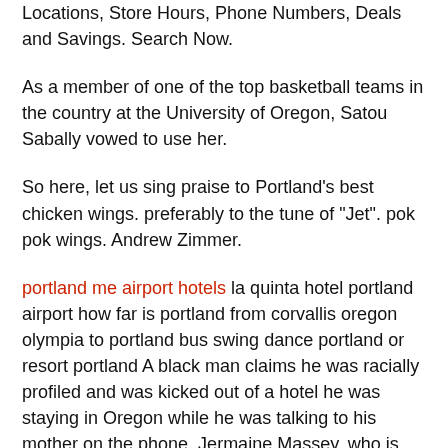Locations, Store Hours, Phone Numbers, Deals and Savings. Search Now.
As a member of one of the top basketball teams in the country at the University of Oregon, Satou Sabally vowed to use her.
So here, let us sing praise to Portland's best chicken wings. preferably to the tune of "Jet". pok pok wings. Andrew Zimmer.
portland me airport hotels la quinta hotel portland airport how far is portland from corvallis oregon olympia to portland bus swing dance portland or resort portland A black man claims he was racially profiled and was kicked out of a hotel he was staying in Oregon while he was talking to his mother on the phone. Jermaine Massey, who is from Kent, Washington, was.bingo halls in portland oregon seattle to portland driving time How much time do people spend in Portland? The average time spent sightseeing in Portland by travelers from Seattle is